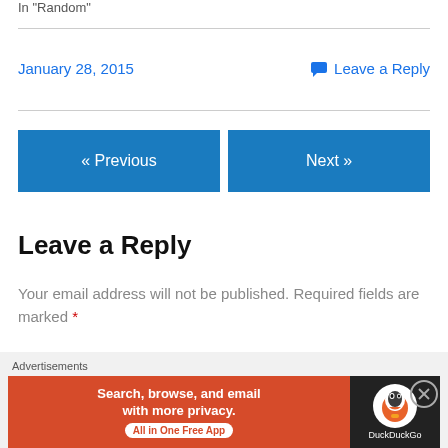In "Random"
January 28, 2015   Leave a Reply
« Previous
Next »
Leave a Reply
Your email address will not be published. Required fields are marked *
Comment *
[Figure (infographic): Advertisement banner for DuckDuckGo: 'Search, browse, and email with more privacy. All in One Free App' with DuckDuckGo logo on dark background]